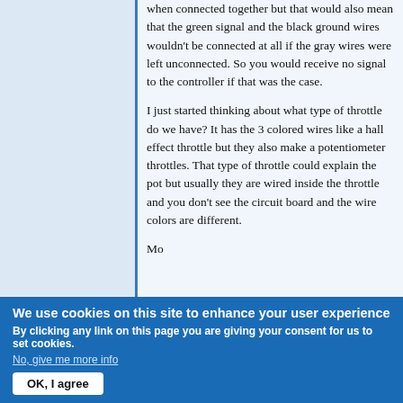when connected together but that would also mean that the green signal and the black ground wires wouldn't be connected at all if the gray wires were left unconnected. So you would receive no signal to the controller if that was the case.
I just started thinking about what type of throttle do we have? It has the 3 colored wires like a hall effect throttle but they also make a potentiometer throttles. That type of throttle could explain the pot but usually they are wired inside the throttle and you don't see the circuit board and the wire colors are different.
Mo...
We use cookies on this site to enhance your user experience
By clicking any link on this page you are giving your consent for us to set cookies.
No, give me more info
OK, I agree